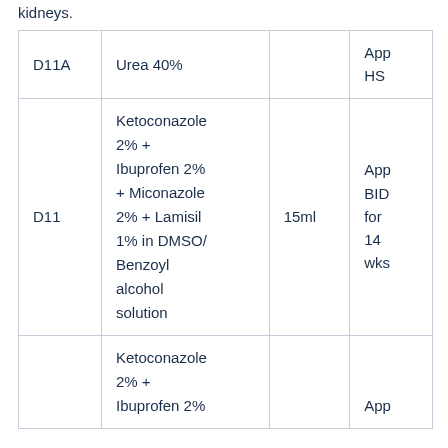kidneys.
| D11A | Urea 40% |  | App HS |
| D11 | Ketoconazole 2% + Ibuprofen 2% + Miconazole 2% + Lamisil 1% in DMSO/ Benzoyl alcohol solution | 15ml | App BID for 14 wks |
|  | Ketoconazole 2% + Ibuprofen 2%... |  | App |